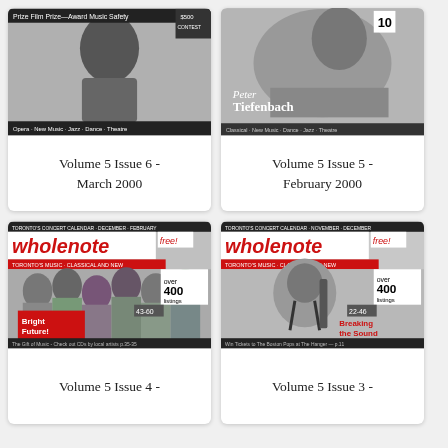[Figure (photo): Magazine cover for Volume 5 Issue 6 - March 2000, black and white photo of a performer]
Volume 5 Issue 6 -
March 2000
[Figure (photo): Magazine cover for Volume 5 Issue 5 - February 2000, featuring Peter Tiefenbach, black and white]
Volume 5 Issue 5 -
February 2000
[Figure (photo): WholeNote magazine cover for Volume 5 Issue 4, showing choir singers with headline Bright Future!]
Volume 5 Issue 4 -
[Figure (photo): WholeNote magazine cover for Volume 5 Issue 3, featuring man with instrument and headline Breaking the Sound Barrier]
Volume 5 Issue 3 -